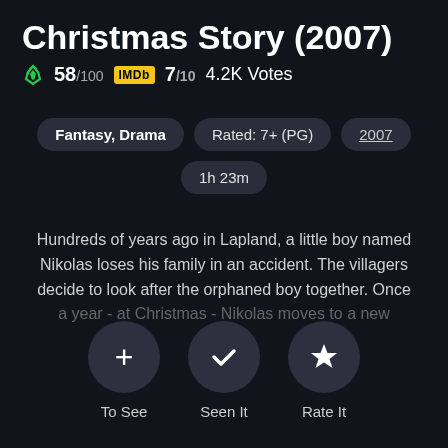Christmas Story (2007)
58/100  IMDb 7/10  4.2K Votes
Fantasy, Drama
Rated: 7+ (PG)
2007
1h 23m
Hundreds of years ago in Lapland, a little boy named Nikolas loses his family in an accident. The villagers decide to look after the orphaned boy together. Once a year - at Christmas - Nikolas moves to a new home...
To See
Seen It
Rate It